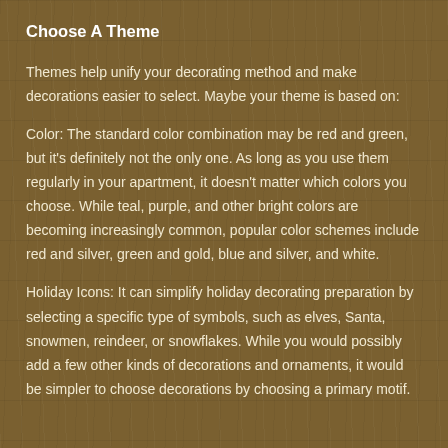Choose A Theme
Themes help unify your decorating method and make decorations easier to select. Maybe your theme is based on:
Color: The standard color combination may be red and green, but it's definitely not the only one. As long as you use them regularly in your apartment, it doesn't matter which colors you choose. While teal, purple, and other bright colors are becoming increasingly common, popular color schemes include red and silver, green and gold, blue and silver, and white.
Holiday Icons: It can simplify holiday decorating preparation by selecting a specific type of symbols, such as elves, Santa, snowmen, reindeer, or snowflakes. While you would possibly add a few other kinds of decorations and ornaments, it would be simpler to choose decorations by choosing a primary motif.